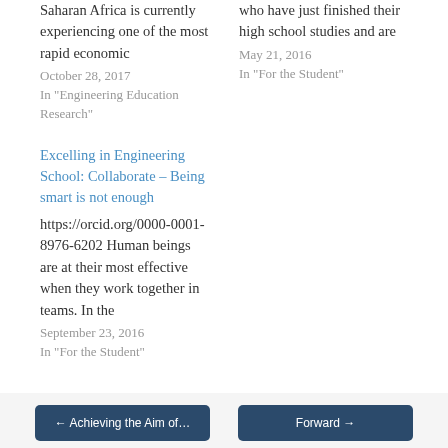Saharan Africa is currently experiencing one of the most rapid economic
October 28, 2017
In "Engineering Education Research"
who have just finished their high school studies and are
May 21, 2016
In "For the Student"
Excelling in Engineering School: Collaborate – Being smart is not enough
https://orcid.org/0000-0001-8976-6202 Human beings are at their most effective when they work together in teams. In the
September 23, 2016
In "For the Student"